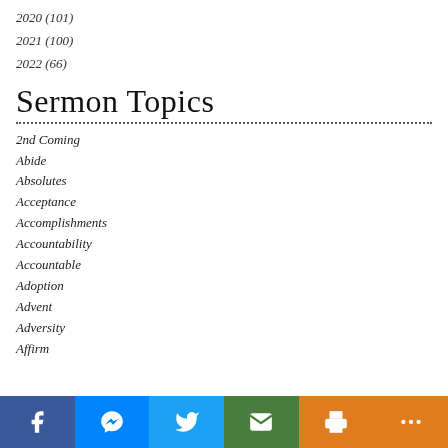2020 (101)
2021 (100)
2022 (66)
Sermon Topics
2nd Coming
Abide
Absolutes
Acceptance
Accomplishments
Accountability
Accountable
Adoption
Advent
Adversity
Affirm